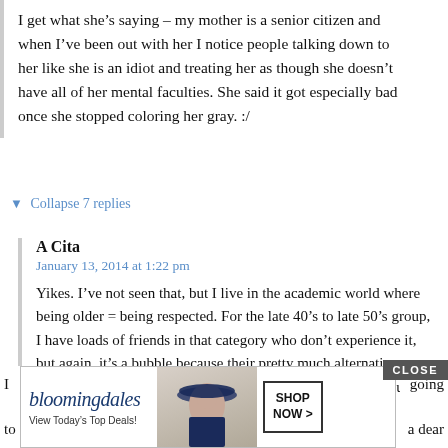I get what she's saying – my mother is a senior citizen and when I've been out with her I notice people talking down to her like she is an idiot and treating her as though she doesn't have all of her mental faculties. She said it got especially bad once she stopped coloring her gray. :/
▼ Collapse 7 replies
A Cita
January 13, 2014 at 1:22 pm
Yikes. I've not seen that, but I live in the academic world where being older = being respected. For the late 40's to late 50's group, I have loads of friends in that category who don't experience it, but again, it's a bubble because their pretty much alternative, artists, musicians, designers, etc. (and the females in the group date a bevvy of nubile 20 something men and women).
[Figure (screenshot): Bloomingdale's advertisement banner with 'CLOSE' button, showing 'View Today's Top Deals!' text, a woman in a blue hat, and 'SHOP NOW >' button. Partially obscured comment text reading 'I ... going' and 'to ... a dear' visible on sides.]